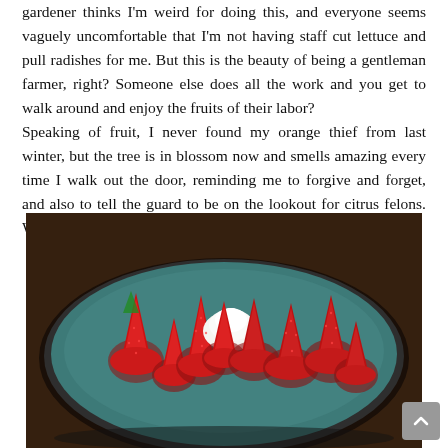gardener thinks I'm weird for doing this, and everyone seems vaguely uncomfortable that I'm not having staff cut lettuce and pull radishes for me. But this is the beauty of being a gentleman farmer, right? Someone else does all the work and you get to walk around and enjoy the fruits of their labor? Speaking of fruit, I never found my orange thief from last winter, but the tree is in blossom now and smells amazing every time I walk out the door, reminding me to forgive and forget, and also to tell the guard to be on the lookout for citrus felons. Who are we kidding, it was definitely the guard who ate them.
[Figure (photo): A teal/dark blue oval plate holding multiple whole red strawberries arranged in a circular pattern, with a small dollop of whipped cream in the center. The plate sits on a dark wooden surface.]